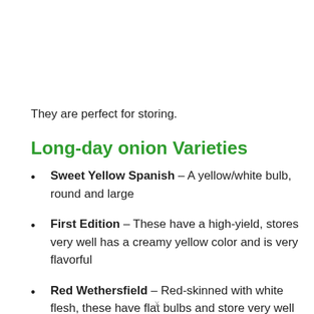They are perfect for storing.
Long-day onion Varieties
Sweet Yellow Spanish – A yellow/white bulb, round and large
First Edition – These have a high-yield, stores very well has a creamy yellow color and is very flavorful
Red Wethersfield – Red-skinned with white flesh, these have flat bulbs and store very well
Ailsa Craig – These tend to have huge bulbs and are